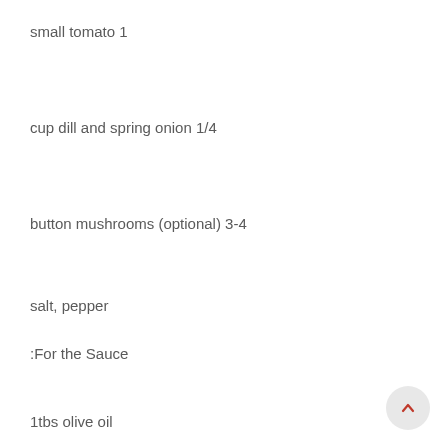small tomato 1
cup dill and spring onion 1/4
button mushrooms (optional) 3-4
salt, pepper
:For the Sauce
1tbs olive oil